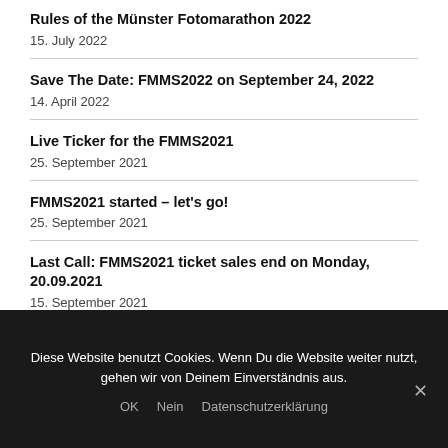Rules of the Münster Fotomarathon 2022
15. July 2022
Save The Date: FMMS2022 on September 24, 2022
14. April 2022
Live Ticker for the FMMS2021
25. September 2021
FMMS2021 started – let's go!
25. September 2021
Last Call: FMMS2021 ticket sales end on Monday, 20.09.2021
15. September 2021
Diese Website benutzt Cookies. Wenn Du die Website weiter nutzt, gehen wir von Deinem Einverständnis aus.
OK   Nein   Datenschutzerklärung